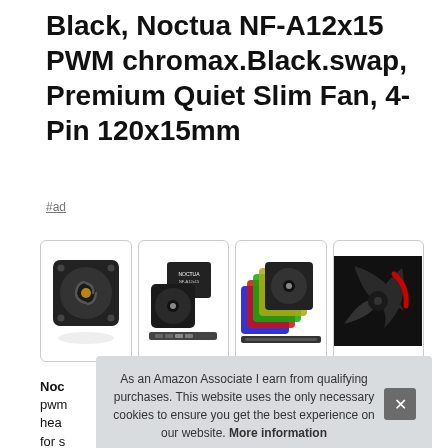Black, Noctua NF-A12x15 PWM chromax.Black.swap, Premium Quiet Slim Fan, 4-Pin 120x15mm
#ad
[Figure (photo): Four product image thumbnails in bordered boxes: 1) Black Noctua 120mm case fan, 2) Fan with packaging and accessories, 3) Multiple colorful fans fanned out, 4) Close-up of dark fan blades with red accent]
Noc
pwm
hea
for s
As an Amazon Associate I earn from qualifying purchases. This website uses the only necessary cookies to ensure you get the best experience on our website. More information